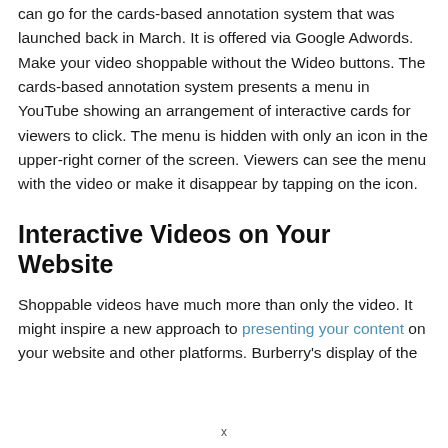can go for the cards-based annotation system that was launched back in March. It is offered via Google Adwords. Make your video shoppable without the Wideo buttons. The cards-based annotation system presents a menu in YouTube showing an arrangement of interactive cards for viewers to click. The menu is hidden with only an icon in the upper-right corner of the screen. Viewers can see the menu with the video or make it disappear by tapping on the icon.
Interactive Videos on Your Website
Shoppable videos have much more than only the video. It might inspire a new approach to presenting your content on your website and other platforms. Burberry's display of the
x